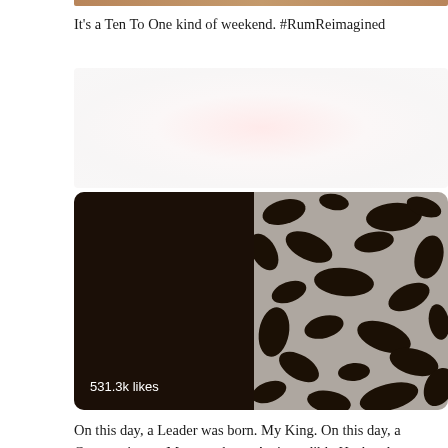[Figure (photo): Partial top edge of a photo, cropped at top of page]
It's a Ten To One kind of weekend. #RumReimagined
[Figure (photo): Blurred/faded image placeholder]
[Figure (photo): Photo of a person wearing a black and white patterned dress, with dark background on left side. Shows 531.3k likes overlay text.]
On this day, a Leader was born. My King. On this day, a Compassionate Man was born. An incredible Husband